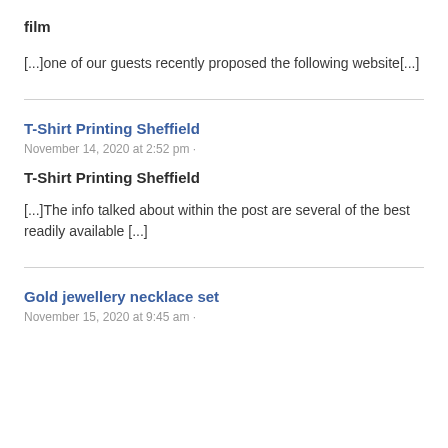film
[...]one of our guests recently proposed the following website[...]
T-Shirt Printing Sheffield
November 14, 2020 at 2:52 pm ·
T-Shirt Printing Sheffield
[...]The info talked about within the post are several of the best readily available [...]
Gold jewellery necklace set
November 15, 2020 at 9:45 am ·